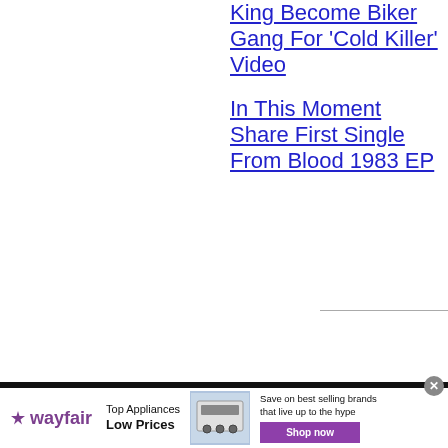King Become Biker Gang For 'Cold Killer' Video
In This Moment Share First Single From Blood 1983 EP
[Figure (other): Wayfair advertisement banner showing Top Appliances Low Prices with a stove image and Shop now button]